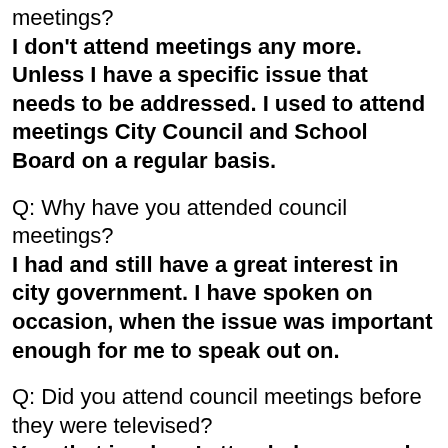meetings? I don't attend meetings any more. Unless I have a specific issue that needs to be addressed. I used to attend meetings City Council and School Board on a regular basis.
Q: Why have you attended council meetings? I had and still have a great interest in city government. I have spoken on occasion, when the issue was important enough for me to speak out on.
Q: Did you attend council meetings before they were televised? Yes, that is when I attended on a regular basis. After the cameras came in I rarely